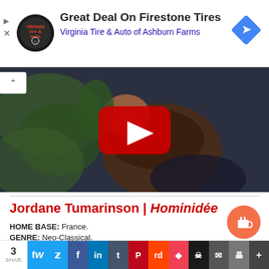[Figure (screenshot): Advertisement banner for Virginia Tire & Auto of Ashburn Farms featuring Firestone Tires deal. Circular logo on left, ad text in center, blue diamond navigation arrow on right.]
[Figure (screenshot): YouTube video thumbnail showing a person lying face-down with a red YouTube play button overlay. Dark blurred nature background.]
Jordane Tumarinson | Hominidée
HOME BASE: France.
GENRE: Neo-Classical.
THE EDITOR BIO & PRESS RELEASE: "A very passio...
[Figure (screenshot): Social share bar with share count of 3 and icons for Twitter, Facebook, LinkedIn, Tumblr, Pinterest, Reddit, Pocket, Skull (Share), Email, Print, More.]